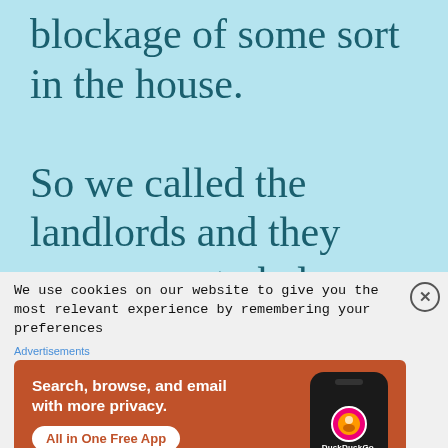blockage of some sort in the house.

So we called the landlords and they came over to help
We use cookies on our website to give you the most relevant experience by remembering your preferences
[Figure (infographic): DuckDuckGo advertisement banner with orange background showing a smartphone mockup. Text: 'Search, browse, and email with more privacy. All in One Free App'. DuckDuckGo logo visible on phone screen.]